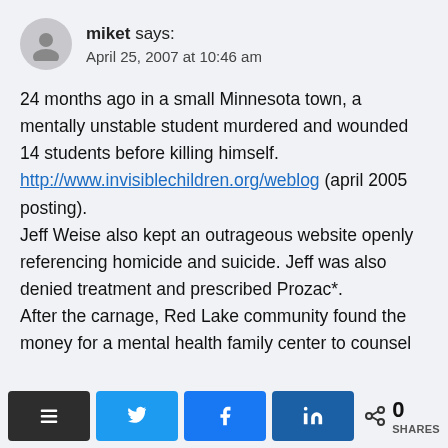miket says: April 25, 2007 at 10:46 am
24 months ago in a small Minnesota town, a mentally unstable student murdered and wounded 14 students before killing himself. http://www.invisiblechildren.org/weblog (april 2005 posting). Jeff Weise also kept an outrageous website openly referencing homicide and suicide. Jeff was also denied treatment and prescribed Prozac*. After the carnage, Red Lake community found the money for a mental health family center to counsel